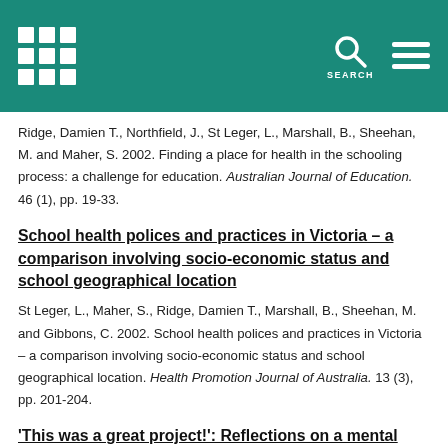Header bar with institution logo, search icon, and menu icon
Ridge, Damien T., Northfield, J., St Leger, L., Marshall, B., Sheehan, M. and Maher, S. 2002. Finding a place for health in the schooling process: a challenge for education. Australian Journal of Education. 46 (1), pp. 19-33.
School health polices and practices in Victoria – a comparison involving socio-economic status and school geographical location
St Leger, L., Maher, S., Ridge, Damien T., Marshall, B., Sheehan, M. and Gibbons, C. 2002. School health polices and practices in Victoria – a comparison involving socio-economic status and school geographical location. Health Promotion Journal of Australia. 13 (3), pp. 201-204.
'This was a great project!': Reflections on a mental health promotion project in a remote indigenous school
Sheehan, M., Ridge, Damien T. and Marshall, B. 2002. 'This was a